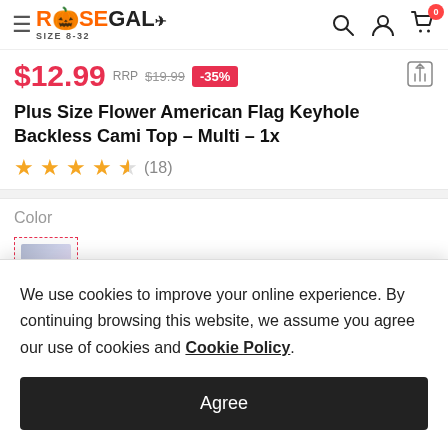ROSEGAL SIZE 8-32
$12.99 RRP $19.99 -35%
Plus Size Flower American Flag Keyhole Backless Cami Top - Multi - 1x
★★★★½ (18)
Color
We use cookies to improve your online experience. By continuing browsing this website, we assume you agree our use of cookies and Cookie Policy.
Agree